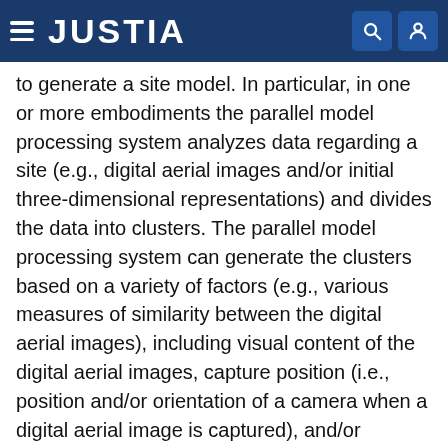JUSTIA
to generate a site model. In particular, in one or more embodiments the parallel model processing system analyzes data regarding a site (e.g., digital aerial images and/or initial three-dimensional representations) and divides the data into clusters. The parallel model processing system can generate the clusters based on a variety of factors (e.g., various measures of similarity between the digital aerial images), including visual content of the digital aerial images, capture position (i.e., position and/or orientation of a camera when a digital aerial image is captured), and/or capture time. Moreover, in one or more embodiments, the parallel model processing system sends the clusters to a plurality of computing devices (e.g., a cloud computing network that provides virtual computing services). The plurality of computing devices can analyze the clusters independently to generate cluster models (i.e., models